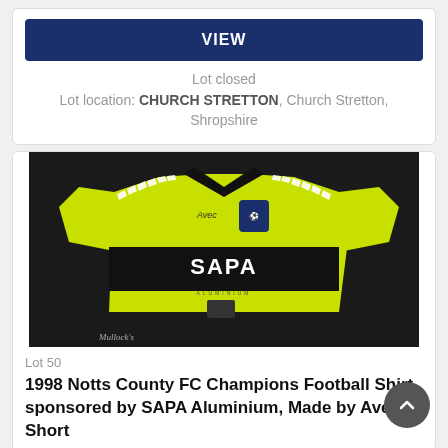VIEW
Lot closed
Lot location: CHURCH STRETTON, Church Stretton, Shropshire
[Figure (photo): Yellow and black Notts County FC football shirt with SAPA sponsor, displayed on dark background. Mullock's auction watermark visible.]
Lot 50
1998 Notts County FC Champions Football Shirt sponsored by SAPA Aluminium, Made by Avec, Short